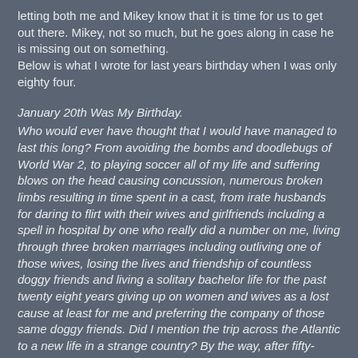letting both me and Mikey know that it is time for us to get out there. Mikey, not so much, but he goes along in case he is missing out on something.
Below is what I wrote for last years birthday when I was only eighty four.
January 20th Was My Birthday.
Who would ever have thought that I would have managed to last this long? From avoiding the bombs and doodlebugs of World War 2, to playing soccer all of my life and suffering blows on the head causing concussion, numerous broken limbs resulting in time spent in a cast, from irate husbands for daring to flirt with their wives and girlfriends including a spell in hospital by one who really did a number on me, living through three broken marriages including outliving one of those wives, losing the lives and friendship of countless doggy friends and living a solitary bachelor life for the past twenty eight years giving up on women and wives as a lost cause at least for me and preferring the company of those same doggy friends. Did I mention the trip across the Atlantic to a new life in a strange country? By the way, after fifty-three years of living here, this country is still strange and bewildering.